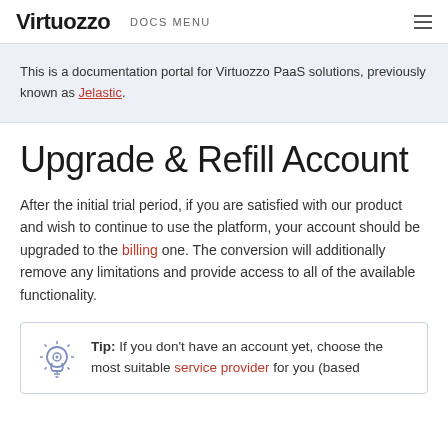Virtuozzo DOCS MENU
This is a documentation portal for Virtuozzo PaaS solutions, previously known as Jelastic.
Upgrade & Refill Account
After the initial trial period, if you are satisfied with our product and wish to continue to use the platform, your account should be upgraded to the billing one. The conversion will additionally remove any limitations and provide access to all of the available functionality.
Tip: If you don't have an account yet, choose the most suitable service provider for you (based